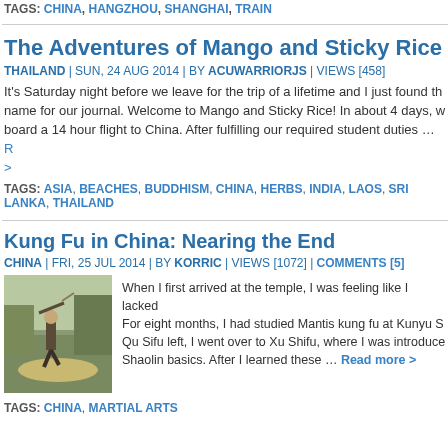TAGS: CHINA, HANGZHOU, SHANGHAI, TRAIN
The Adventures of Mango and Sticky Rice
THAILAND | SUN, 24 AUG 2014 | BY ACUWARRIORJS | VIEWS [458]
It's Saturday night before we leave for the trip of a lifetime and I just found the name for our journal. Welcome to Mango and Sticky Rice! In about 4 days, we board a 14 hour flight to China. After fulfilling our required student duties … Read more >
TAGS: ASIA, BEACHES, BUDDHISM, CHINA, HERBS, INDIA, LAOS, SRI LANKA, THAILAND
Kung Fu in China: Nearing the End
CHINA | FRI, 25 JUL 2014 | BY KORRIC | VIEWS [1072] | COMMENTS [5]
[Figure (photo): Person practicing kung fu outdoors, holding a weapon overhead]
When I first arrived at the temple, I was feeling like I lacked... For eight months, I had studied Mantis kung fu at Kunyu S... Qu Sifu left, I went over to Xu Shifu, where I was introduced... Shaolin basics. After I learned these … Read more >
TAGS: CHINA, MARTIAL ARTS